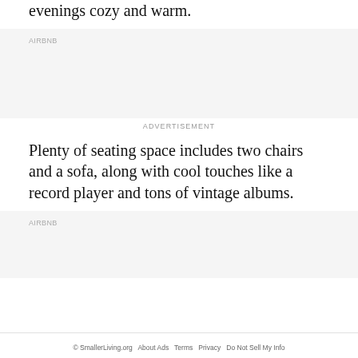evenings cozy and warm.
[Figure (other): Advertisement placeholder box with AIRBNB label]
ADVERTISEMENT
Plenty of seating space includes two chairs and a sofa, along with cool touches like a record player and tons of vintage albums.
[Figure (other): Advertisement placeholder box with AIRBNB label]
© SmallerLiving.org  About Ads  Terms  Privacy  Do Not Sell My Info